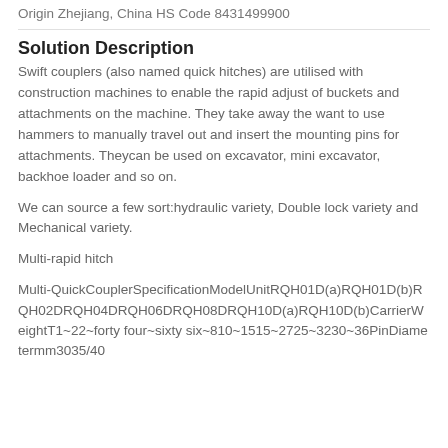Origin Zhejiang, China HS Code 8431499900
Solution Description
Swift couplers (also named quick hitches) are utilised with construction machines to enable the rapid adjust of buckets and attachments on the machine. They take away the want to use hammers to manually travel out and insert the mounting pins for attachments. Theycan be used on excavator, mini excavator, backhoe loader and so on.
We can source a few sort:hydraulic variety, Double lock variety and Mechanical variety.
Multi-rapid hitch
Multi-QuickCouplerSpecificationModelUnitRQH01D(a)RQH01D(b)RQH02DRQH04DRQH06DRQH08DRQH10D(a)RQH10D(b)CarrierWeightT1~22~forty four~sixty six~810~1515~2725~3230~36PinDiametermm3035/40